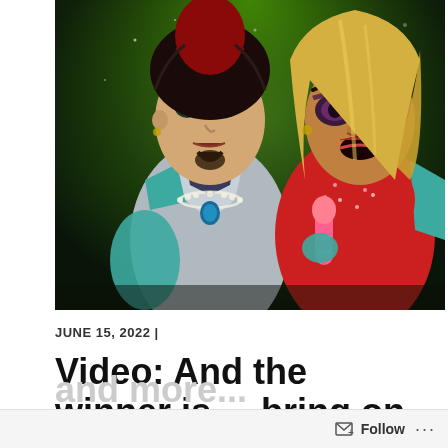[Figure (photo): Two performers in colorful stage costumes against a green-lit background. Left figure wears a silver/grey jacket with teal accents and styled dark hair with red highlights. Right figure wears a red sparkly outfit with blonde hair and dramatic makeup.]
JUNE 15, 2022 |
Video: And the winner is..., bring on the heat,
and more...